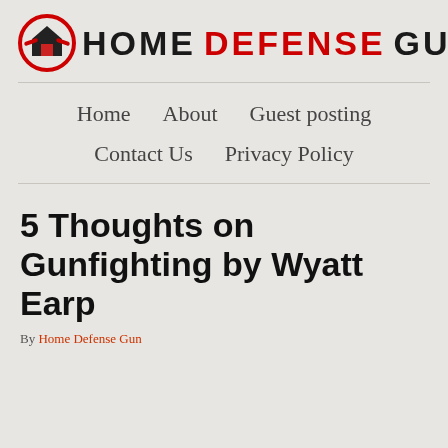[Figure (logo): Home Defense Gun website logo with house and gun icon in a circular red/black emblem, followed by site name 'HOME DEFENSE GUN' in bold black and red text]
Home   About   Guest posting   Contact Us   Privacy Policy
5 Thoughts on Gunfighting by Wyatt Earp
By Home Defense Gun